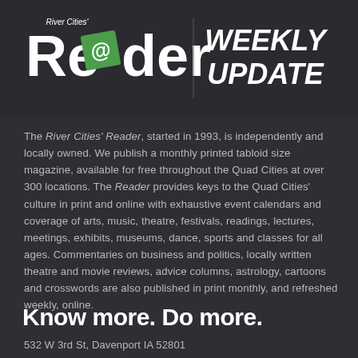[Figure (logo): River Cities' Reader logo with green diamond and '@' in the word Reader, alongside 'WEEKLY UPDATE' text in white italic bold on dark background]
The River Cities' Reader, started in 1993, is independently and locally owned. We publish a monthly printed tabloid size magazine, available for free throughout the Quad Cities at over 300 locations. The Reader provides keys to the Quad Cities' culture in print and online with exhaustive event calendars and coverage of arts, music, theatre, festivals, readings, lectures, meetings, exhibits, museums, dance, sports and classes for all ages. Commentaries on business and politics, locally written theatre and movie reviews, advice columns, astrology, cartoons and crosswords are also published in print monthly, and refreshed weekly, online.
Know more. Do more.
532 W 3rd St, Davenport IA 52801